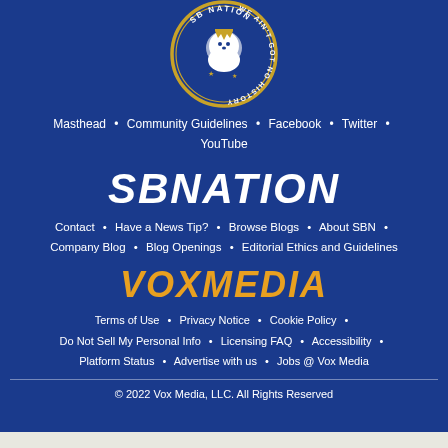[Figure (logo): SB Nation circular logo with lion wearing crown, text 'WE AIN'T GOT NO HISTORY' around border, blue and gold colors]
Masthead • Community Guidelines • Facebook • Twitter • YouTube
SBNATION
Contact • Have a News Tip? • Browse Blogs • About SBN • Company Blog • Blog Openings • Editorial Ethics and Guidelines
VOXMEDIA
Terms of Use • Privacy Notice • Cookie Policy • Do Not Sell My Personal Info • Licensing FAQ • Accessibility • Platform Status • Advertise with us • Jobs @ Vox Media
© 2022 Vox Media, LLC. All Rights Reserved